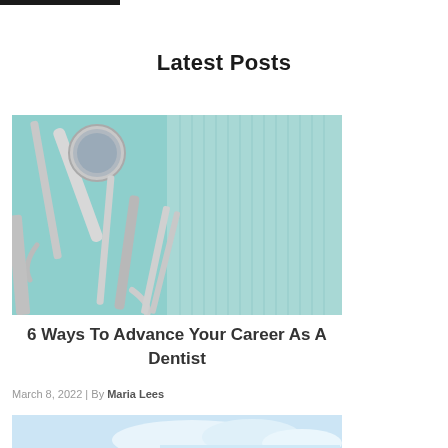Latest Posts
[Figure (photo): Dental tools including a mouth mirror, explorer, and other instruments laid on a teal/light blue cloth or surface.]
6 Ways To Advance Your Career As A Dentist
March 8, 2022 | By Maria Lees
[Figure (photo): Partial view of a second blog post image showing a light blue sky with clouds.]